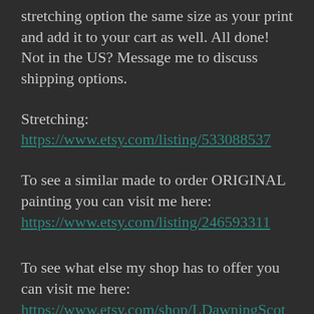stretching option the same size as your print and add it to your cart as well. All done! Not in the US? Message me to discuss shipping options.
Stretching:
https://www.etsy.com/listing/533088537
To see a similar made to order ORIGINAL painting you can visit me here:
https://www.etsy.com/listing/246593311
To see what else my shop has to offer you can visit me here:
https://www.etsy.com/shop/LDawningScott